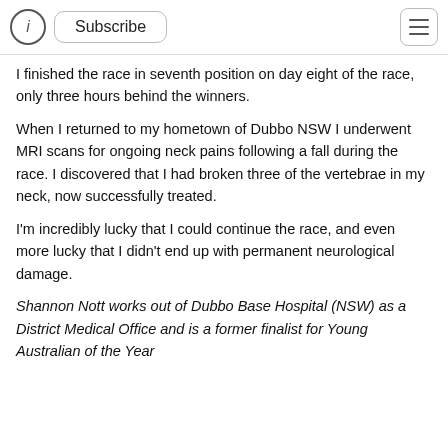Subscribe
I finished the race in seventh position on day eight of the race, only three hours behind the winners.
When I returned to my hometown of Dubbo NSW I underwent MRI scans for ongoing neck pains following a fall during the race. I discovered that I had broken three of the vertebrae in my neck, now successfully treated.
I'm incredibly lucky that I could continue the race, and even more lucky that I didn't end up with permanent neurological damage.
Shannon Nott works out of Dubbo Base Hospital (NSW) as a District Medical Office and is a former finalist for Young Australian of the Year